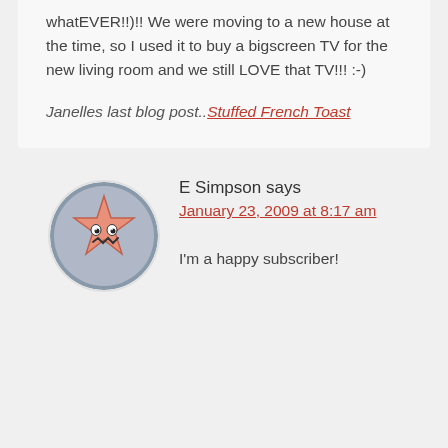whatEVER!!)!! We were moving to a new house at the time, so I used it to buy a bigscreen TV for the new living room and we still LOVE that TV!!! :-)
Janelles last blog post..Stuffed French Toast
[Figure (illustration): Round avatar with circular white background, cartoon star-shaped character with pink/salmon color, expressive face with wide eyes and zig-zag mouth, on a grayish-blue circle background]
E Simpson says
January 23, 2009 at 8:17 am
I'm a happy subscriber!